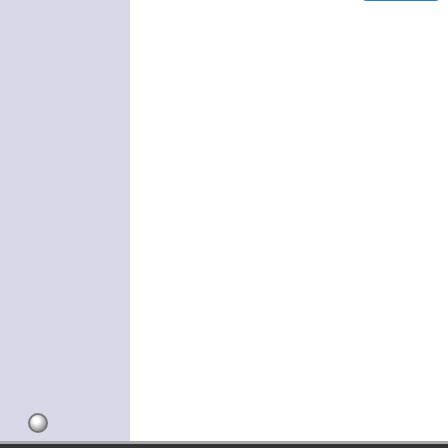TV doing this intermittently and i found one of those side COF IC's was touching on the metal frame.
Hmm...thanks for that. I'll check it out.
If in fact that is he problem it seems odd that it's just randomly started happening, with the TV sitting on the wall.
09-29-2021, 12:48 AM  #8
diif
Badcaps Veteran
Join Date: Feb 2014
City & State: Midlands
My Country: England
I'm a: Professional Tech
Posts: 6,121
Re: TCL 65" U65E5800FS - Black shading after startup
Quote:
Originally Posted by Stuckster
Adjusting brightness affects the screen consistently. No relative change...